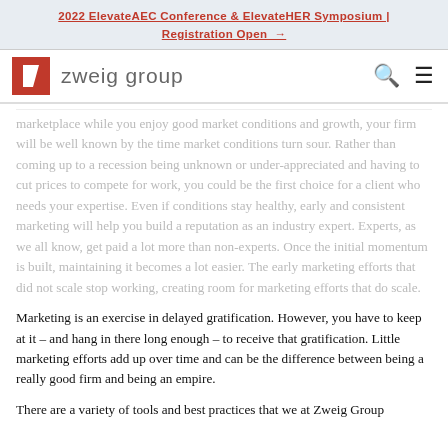2022 ElevateAEC Conference & ElevateHER Symposium | Registration Open →
[Figure (logo): Zweig Group logo with red square icon containing a white '7' shape and 'zweig group' text in gray, with search and menu icons on the right]
marketplace while you enjoy good market conditions and growth, your firm will be well known by the time market conditions turn sour. Rather than coming up to a recession being unknown or under-appreciated and having to cut prices to compete for work, you could be the first choice for a client who needs your expertise. Even if conditions stay healthy, early and consistent marketing will help you build a reputation as an industry expert. Experts, as we all know, get paid a lot more than non-experts. Once the initial momentum is built, maintaining it becomes a lot easier. The early marketing efforts that did not scale stop working, creating room for marketing efforts that do scale.
Marketing is an exercise in delayed gratification. However, you have to keep at it – and hang in there long enough – to receive that gratification. Little marketing efforts add up over time and can be the difference between being a really good firm and being an empire.
There are a variety of tools and best practices that we at Zweig Group